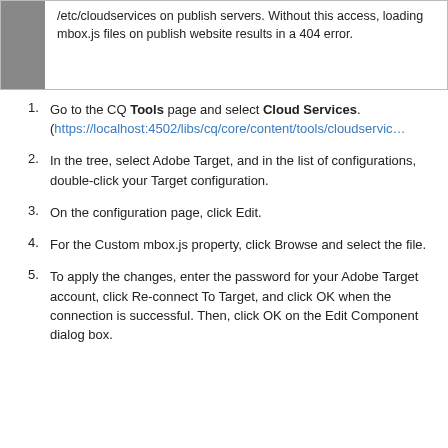/etc/cloudservices on publish servers. Without this access, loading mbox.js files on publish website results in a 404 error.
1. Go to the CQ Tools page and select Cloud Services. (https://localhost:4502/libs/cq/core/content/tools/cloudservic…
2. In the tree, select Adobe Target, and in the list of configurations, double-click your Target configuration.
3. On the configuration page, click Edit.
4. For the Custom mbox.js property, click Browse and select the file.
5. To apply the changes, enter the password for your Adobe Target account, click Re-connect To Target, and click OK when the connection is successful. Then, click OK on the Edit Component dialog box.